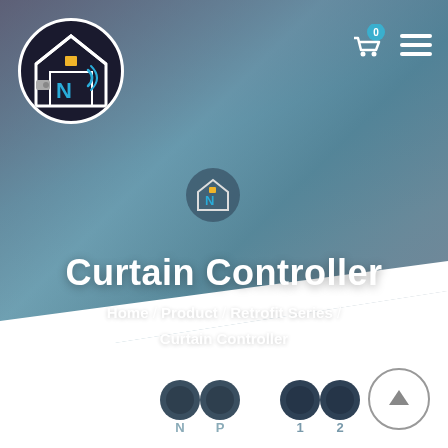[Figure (screenshot): Website header screenshot showing a smart home product page for Curtain Controller. Dark circular logo top-left with house and camera icons in blue/white. Shopping cart with '0' badge and hamburger menu top-right. Blurred teal/blue-grey gradient background with a smaller version of the logo centered. Large white bold title 'Curtain Controller' with breadcrumb navigation below: Home / Product / Retrofit Series / Curtain Controller. Bottom portion shows product hardware connector dots labeled N, P, 1, 2. Scroll-to-top circle button bottom-right on white background.]
Curtain Controller
Home / Product / Retrofit Series / Curtain Controller